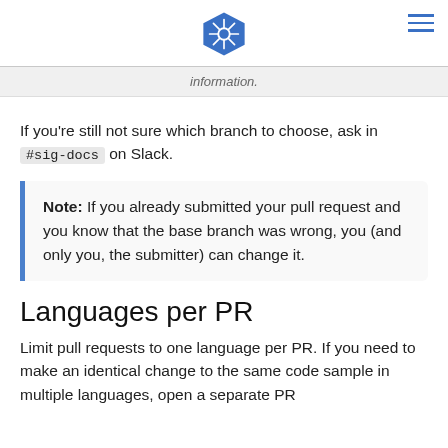Kubernetes logo and navigation
information.
If you're still not sure which branch to choose, ask in #sig-docs on Slack.
Note: If you already submitted your pull request and you know that the base branch was wrong, you (and only you, the submitter) can change it.
Languages per PR
Limit pull requests to one language per PR. If you need to make an identical change to the same code sample in multiple languages, open a separate PR